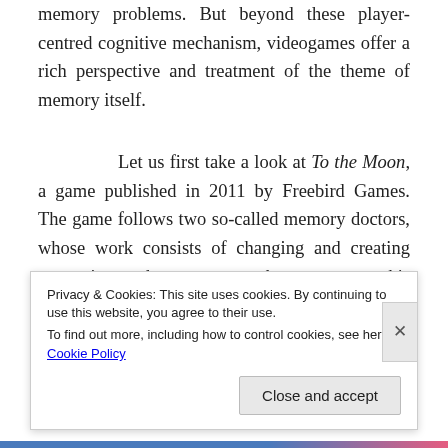memory problems. But beyond these player-centred cognitive mechanism, videogames offer a rich perspective and treatment of the theme of memory itself.
Let us first take a look at To the Moon, a game published in 2011 by Freebird Games. The game follows two so-called memory doctors, whose work consists of changing and creating memories, as they attempt to change a man on his deathbed's memories in order to fulfil his last wish to go to the moon. To do so, they travel to the physical space of his memories,
Privacy & Cookies: This site uses cookies. By continuing to use this website, you agree to their use.
To find out more, including how to control cookies, see here: Cookie Policy